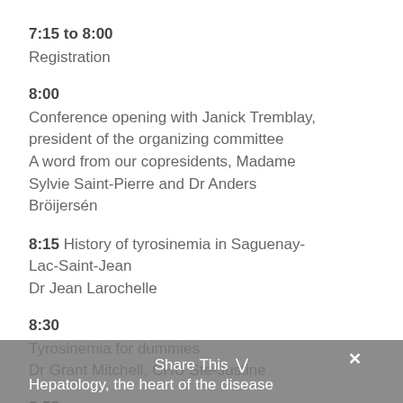7:15 to 8:00
Registration
8:00
Conference opening with Janick Tremblay, president of the organizing committee
A word from our copresidents, Madame Sylvie Saint-Pierre and Dr Anders Bröijersén
8:15 History of tyrosinemia in Saguenay-Lac-Saint-Jean
Dr Jean Larochelle
8:30
Tyrosinemia for dummies
Dr Grant Mitchell, CHU Ste-Justine
8:55
Hepatology, the heart of the disease
Share This  ✕
Hepatology, the heart of the disease